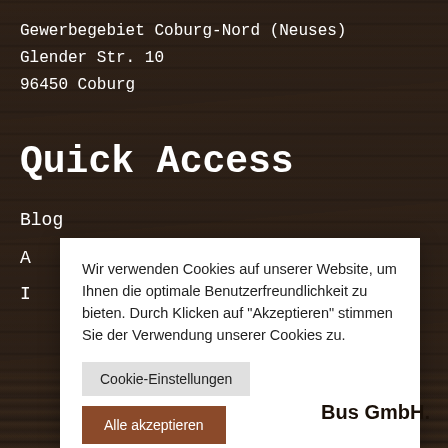Gewerbegebiet Coburg-Nord (Neuses)
Glender Str. 10
96450 Coburg
Quick Access
Blog
Wir verwenden Cookies auf unserer Website, um Ihnen die optimale Benutzerfreundlichkeit zu bieten. Durch Klicken auf "Akzeptieren" stimmen Sie der Verwendung unserer Cookies zu.
Cookie-Einstellungen
Alle akzeptieren
Bus GmbH.